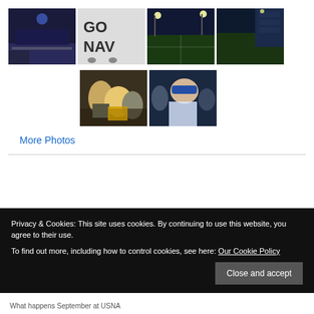[Figure (photo): Grid of 6 photos from a football event at USNA. Top row: 4 photos of stadium/field scenes. Bottom row: 2 photos of crowd/people.]
More Photos
Privacy & Cookies: This site uses cookies. By continuing to use this website, you agree to their use.
To find out more, including how to control cookies, see here: Our Cookie Policy
Close and accept
What happens September at USNA